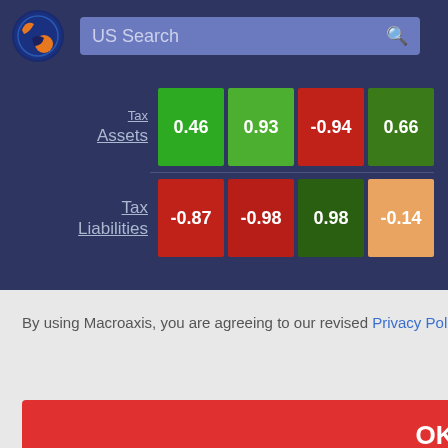[Figure (screenshot): Macroaxis website header with logo and US Search bar]
|  | Col1 | Col2 | Col3 | Col4 |
| --- | --- | --- | --- | --- |
| Tax Assets | 0.46 | 0.93 | -0.94 | 0.66 |
| Tax Liabilities | -0.87 | -0.98 | 0.98 | -0.14 |
Click cells to compare fundamentals
By using Macroaxis, you are agreeing to our revised Privacy Policy
OK